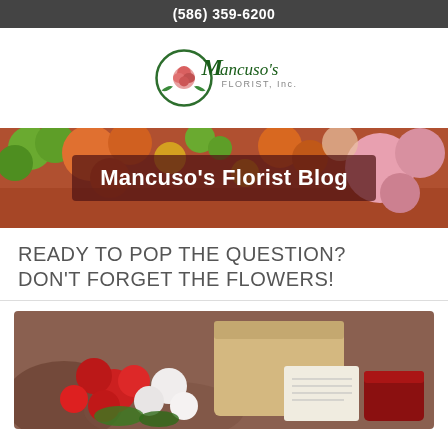(586) 359-6200
[Figure (logo): Mancuso's Florist, Inc. logo with circular rose emblem and green script lettering]
[Figure (photo): Banner photo of colorful flowers including orange, pink, green, and red blooms]
Mancuso's Florist Blog
READY TO POP THE QUESTION? DON'T FORGET THE FLOWERS!
[Figure (photo): Photo of red and white roses arranged with a paper bag and a note card on a rustic surface]